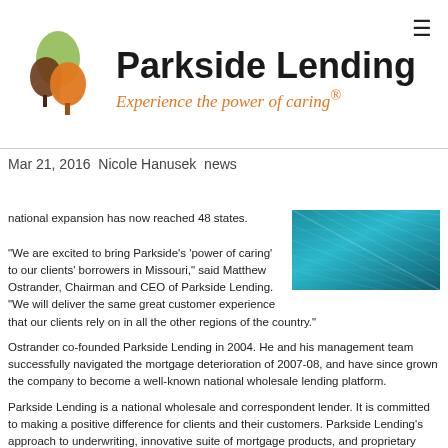[Figure (logo): Parkside Lending logo with tree icons and tagline 'Experience the power of caring®']
Mar 21, 2016  Nicole Hanusek  news
national expansion has now reached 48 states.

"We are excited to bring Parkside's 'power of caring' to our clients' borrowers in Missouri," said Matthew Ostrander, Chairman and CEO of Parkside Lending. "We will deliver the same great customer experience that our clients rely on in all the other regions of the country."
[Figure (photo): Photo of a glass office building viewed from below at an angle, with blue/teal tones]
Ostrander co-founded Parkside Lending in 2004. He and his management team successfully navigated the mortgage deterioration of 2007-08, and have since grown the company to become a well-known national wholesale lending platform.
Parkside Lending is a national wholesale and correspondent lender. It is committed to making a positive difference for clients and their customers. Parkside Lending's approach to underwriting, innovative suite of mortgage products, and proprietary technology help loan officers and lenders close more loans. It employs seasoned professionals who bring respect,